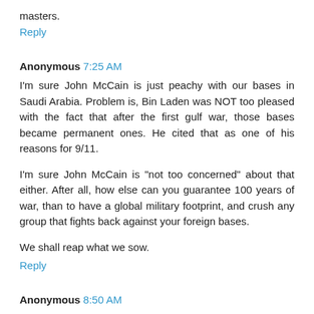masters.
Reply
Anonymous 7:25 AM
I'm sure John McCain is just peachy with our bases in Saudi Arabia. Problem is, Bin Laden was NOT too pleased with the fact that after the first gulf war, those bases became permanent ones. He cited that as one of his reasons for 9/11.

I'm sure John McCain is "not too concerned" about that either. After all, how else can you guarantee 100 years of war, than to have a global military footprint, and crush any group that fights back against your foreign bases.

We shall reap what we sow.
Reply
Anonymous 8:50 AM